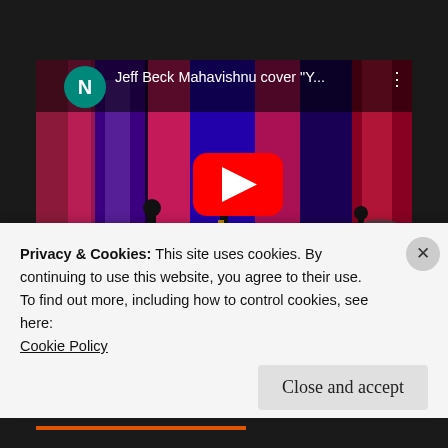[Figure (screenshot): YouTube video thumbnail showing a concert performance with Jeff Beck Mahavishnu cover 'Y...' title, YouTube play button overlay, N avatar icon, concert stage with colorful pink/purple/blue lighting and musicians.]
Privacy & Cookies: This site uses cookies. By continuing to use this website, you agree to their use.
To find out more, including how to control cookies, see here:
Cookie Policy
Close and accept